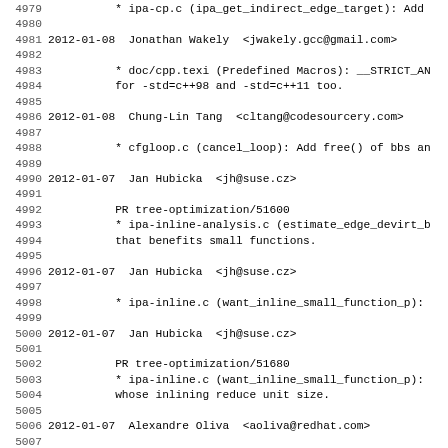4979-5010: Source code changelog entries for GCC project
4979: * ipa-cp.c (ipa_get_indirect_edge_target): Add
4981: 2012-01-08  Jonathan Wakely  <jwakely.gcc@gmail.com>
4983: * doc/cpp.texi (Predefined Macros): __STRICT_AN
4984: for -std=c++98 and -std=c++11 too.
4986: 2012-01-08  Chung-Lin Tang  <cltang@codesourcery.com>
4988: * cfgloop.c (cancel_loop): Add free() of bbs an
4990: 2012-01-07  Jan Hubicka  <jh@suse.cz>
4992: PR tree-optimization/51600
4993: * ipa-inline-analysis.c (estimate_edge_devirt_b
4994: that benefits small functions.
4996: 2012-01-07  Jan Hubicka  <jh@suse.cz>
4998: * ipa-inline.c (want_inline_small_function_p):
5000: 2012-01-07  Jan Hubicka  <jh@suse.cz>
5002: PR tree-optimization/51680
5003: * ipa-inline.c (want_inline_small_function_p):
5004: whose inlining reduce unit size.
5006: 2012-01-07  Alexandre Oliva  <aoliva@redhat.com>
5008: PR bootstrap/51725
5009: * cselib.c (new_elt_loc_list): Promote addr_lis
5010: Add canonical node to containing_mem chain afte